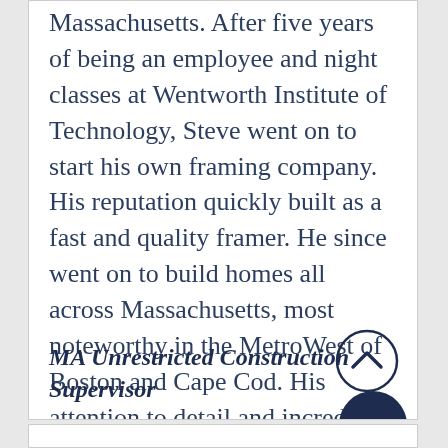Massachusetts.  After five years of being an employee and night classes at Wentworth Institute of Technology, Steve went on to start his own framing company.  His reputation quickly built as a fast and quality framer.  He since went on to build homes all across Massachusetts, most noteworthy in the MetroWest of Boston and Cape Cod.  His attention to detail and incredible work ethic is what separates him from the ordinary home builder.
MA Unrestricted Construction Supervisor
[Figure (other): Circular scroll-up button with chevron/caret icon pointing upward, dark navy outline circle]
[Figure (other): Dark navy filled circle button with three horizontal dots (ellipsis/more options button)]